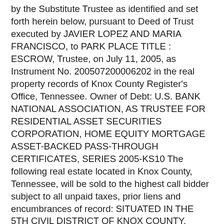by the Substitute Trustee as identified and set forth herein below, pursuant to Deed of Trust executed by JAVIER LOPEZ AND MARIA FRANCISCO, to PARK PLACE TITLE : ESCROW, Trustee, on July 11, 2005, as Instrument No. 200507200006202 in the real property records of Knox County Register's Office, Tennessee. Owner of Debt: U.S. BANK NATIONAL ASSOCIATION, AS TRUSTEE FOR RESIDENTIAL ASSET SECURITIES CORPORATION, HOME EQUITY MORTGAGE ASSET-BACKED PASS-THROUGH CERTIFICATES, SERIES 2005-KS10 The following real estate located in Knox County, Tennessee, will be sold to the highest call bidder subject to all unpaid taxes, prior liens and encumbrances of record: SITUATED IN THE 5TH CIVIL DISTRICT OF KNOX COUNTY, TENNESSEE, AND WITHIN THE 44TH WARD OF THE CITY OF KNOXVILLE, TENNESSEE, AND